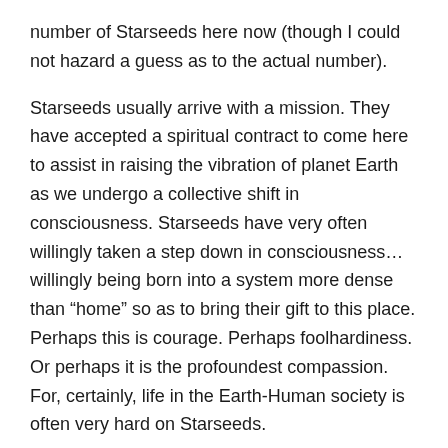number of Starseeds here now (though I could not hazard a guess as to the actual number).
Starseeds usually arrive with a mission. They have accepted a spiritual contract to come here to assist in raising the vibration of planet Earth as we undergo a collective shift in consciousness. Starseeds have very often willingly taken a step down in consciousness… willingly being born into a system more dense than “home” so as to bring their gift to this place. Perhaps this is courage. Perhaps foolhardiness. Or perhaps it is the profoundest compassion. For, certainly, life in the Earth-Human society is often very hard on Starseeds.
Here are some attributes common to many Starseeds:
1. Starseeds often struggle, for the duration of their life,